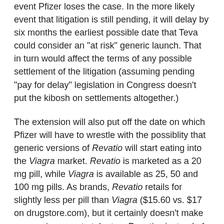event Pfizer loses the case. In the more likely event that litigation is still pending, it will delay by six months the earliest possible date that Teva could consider an "at risk" generic launch. That in turn would affect the terms of any possible settlement of the litigation (assuming pending "pay for delay" legislation in Congress doesn't put the kibosh on settlements altogether.)
The extension will also put off the date on which Pfizer will have to wrestle with the possiblity that generic versions of Revatio will start eating into the Viagra market. Revatio is marketed as a 20 mg pill, while Viagra is available as 25, 50 and 100 mg pills. As brands, Revatio retails for slightly less per pill than Viagra ($15.60 vs. $17 on drugstore.com), but it certainly doesn't make economic sense to take two Revatios instead of one Viagra. If Revatio generics are widely available, those economics could change.
So, no matter how you look at it, Viagra will benefit from the pediatric exclusivity award.
Here's the thing: the pediatric exclusivity program has strong